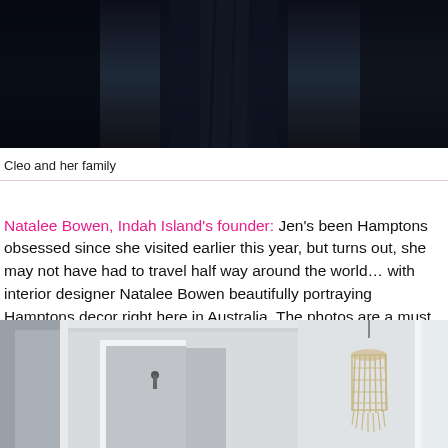[Figure (photo): Top portion of a photo showing a person in dark clothing against a dark background]
Cleo and her family
Natalee Bowen, Indah Island's founder: Jen's been Hamptons obsessed since she visited earlier this year, but turns out, she may not have had to travel half way around the world… with interior designer Natalee Bowen beautifully portraying Hamptons decor right here in Australia. The photos are a must see!
[Figure (photo): Interior photo of a Hamptons-style home with white beamed ceiling, white walls, a woven pendant light chandelier, and hallway]